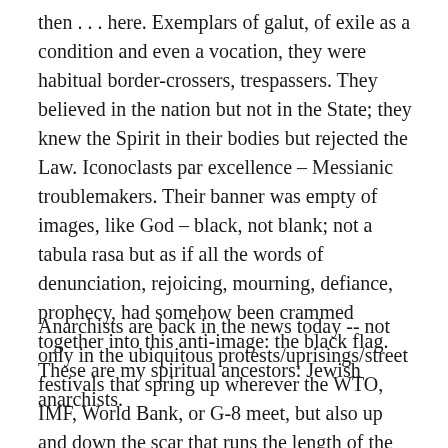then . . . here. Exemplars of galut, of exile as a condition and even a vocation, they were habitual border-crossers, trespassers. They believed in the nation but not in the State; they knew the Spirit in their bodies but rejected the Law. Iconoclasts par excellence – Messianic troublemakers. Their banner was empty of images, like God – black, not blank; not a tabula rasa but as if all the words of denunciation, rejoicing, mourning, defiance, prophecy, had somehow been crammed together into this anti-image: the black flag. These are my spiritual ancestors: Jewish anarchists.
Anarchists are back in the news today -- not only in the ubiquitous protests/uprisings/street festivals that spring up wherever the WTO, IMF, World Bank, or G-8 meet, but also up and down the scar that runs the length of the West Bank, between the Israeli magen